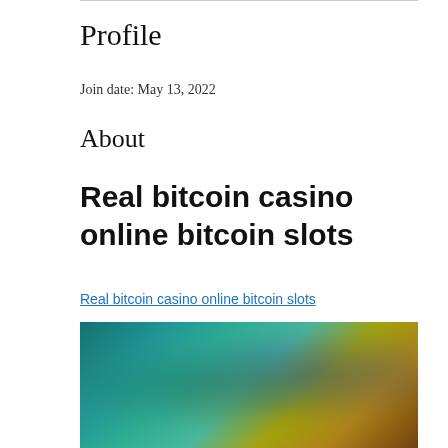Profile
Join date: May 13, 2022
About
Real bitcoin casino online bitcoin slots
Real bitcoin casino online bitcoin slots
[Figure (photo): Blurred screenshot of an online bitcoin casino games interface showing colorful game thumbnails with characters on a dark teal/blue background.]